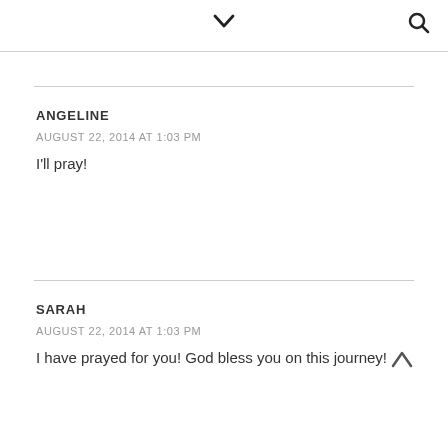▾ (chevron down) and 🔍 (search icon)
ANGELINE
AUGUST 22, 2014 AT 1:03 PM
I'll pray!
SARAH
AUGUST 22, 2014 AT 1:03 PM
I have prayed for you! God bless you on this journey! ∧